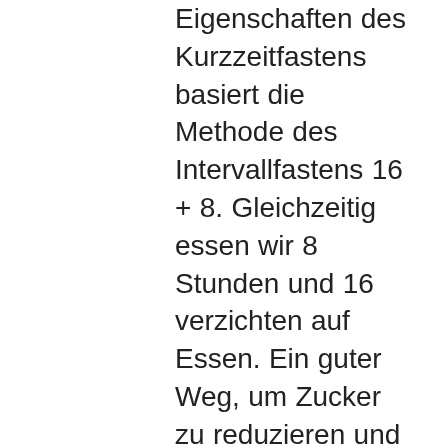Eigenschaften des Kurzzeitfastens basiert die Methode des Intervallfastens 16 + 8. Gleichzeitig essen wir 8 Stunden und 16 verzichten auf Essen. Ein guter Weg, um Zucker zu reduzieren und Gewicht zu verlieren. Aufrechterhaltung eines normalen Body-Mass-Index und Taillenumfangs. Der letzte Indikator ist besonders wichtig. Schließlich ist Fett auf unseren Bäuchen um die Taille nicht nur nicht sehr schön. Dies ist ein hormonell aktives Gewebe, dessen Arbeit zu einem Anstieg von Druck, Cholesterin und Zucker